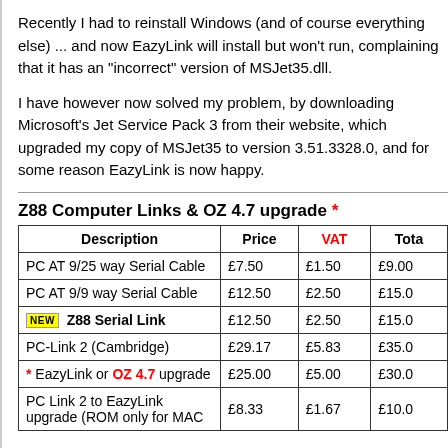Recently I had to reinstall Windows (and of course everything else) ... and now EazyLink will install but won't run, complaining that it has an "incorrect" version of MSJet35.dll.

I have however now solved my problem, by downloading Microsoft's Jet Service Pack 3 from their website, which upgraded my copy of MSJet35 to version 3.51.3328.0, and for some reason EazyLink is now happy.
Z88 Computer Links & OZ 4.7 upgrade *
| Description | Price | VAT | Total |
| --- | --- | --- | --- |
| PC AT 9/25 way Serial Cable | £7.50 | £1.50 | £9.00 |
| PC AT 9/9 way Serial Cable | £12.50 | £2.50 | £15.00 |
| NEW Z88 Serial Link | £12.50 | £2.50 | £15.00 |
| PC-Link 2 (Cambridge) | £29.17 | £5.83 | £35.00 |
| * EazyLink or OZ 4.7 upgrade | £25.00 | £5.00 | £30.00 |
| PC Link 2 to EazyLink upgrade (ROM only for MAC | £8.33 | £1.67 | £10.00 |